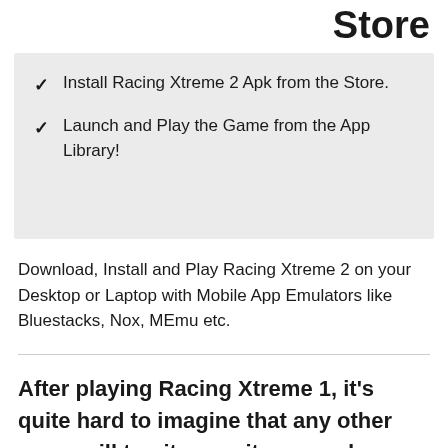Store
Install Racing Xtreme 2 Apk from the Store.
Launch and Play the Game from the App Library!
Download, Install and Play Racing Xtreme 2 on your Desktop or Laptop with Mobile App Emulators like Bluestacks, Nox, MEmu etc.
After playing Racing Xtreme 1, it's quite hard to imagine that any other game will top it, even its second version. But boy! Was I wrong! Racing Xtreme 2 for PC has proven that it is willing to go above and beyond its predecessor to bring you the kind of fun and enjoyment that you need. As a player, you